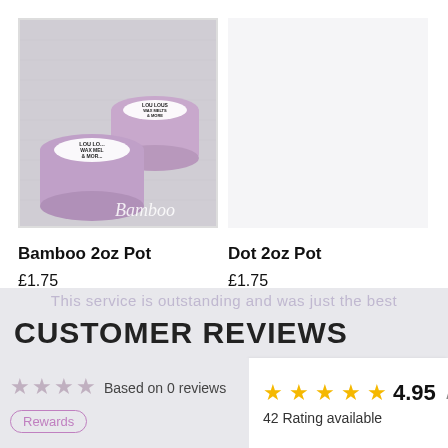[Figure (photo): Three circular purple wax melt pots with 'Lou Lou's Wax Melts & More' labels on a grey fabric background. Text 'Bamboo' written in white cursive at the bottom of the image.]
Bamboo 2oz Pot
£1.75
Dot 2oz Pot
£1.75
CUSTOMER REVIEWS
Based on 0 reviews
Rewards
4.95
42 Rating available